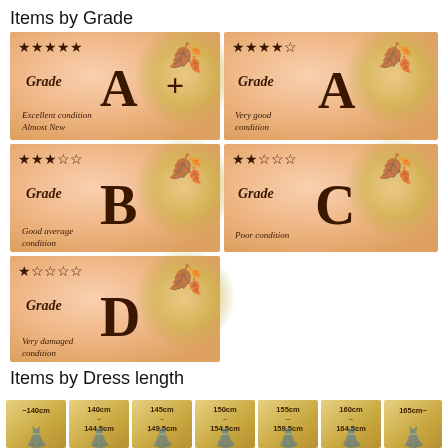Items by Grade
[Figure (infographic): Grade chart showing 5 grades: A+ (5 stars, Excellent condition Almost New), A (4 stars, Very good condition), B (3 stars, Good average condition), C (2 stars, Poor condition), D (1 star, Very damaged condition). Each grade shown as a decorative card with autumn leaf motif.]
Items by Dress length
[Figure (infographic): Dress length chart showing 7 size ranges: ~140cm, 140cm~144.5cm, 145cm~149.5cm, 150cm~154.5cm, 155cm~159.5cm, 160cm~164.5cm, 165cm~. Each shown as a card with silhouette figure.]